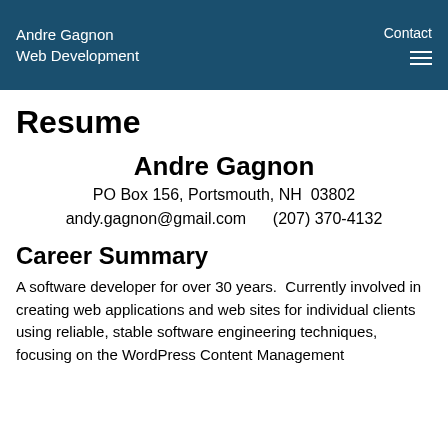Andre Gagnon
Web Development
Resume
Andre Gagnon
PO Box 156, Portsmouth, NH  03802
andy.gagnon@gmail.com     (207) 370-4132
Career Summary
A software developer for over 30 years.  Currently involved in creating web applications and web sites for individual clients using reliable, stable software engineering techniques, focusing on the WordPress Content Management System. Responsive design and other techniques to make…